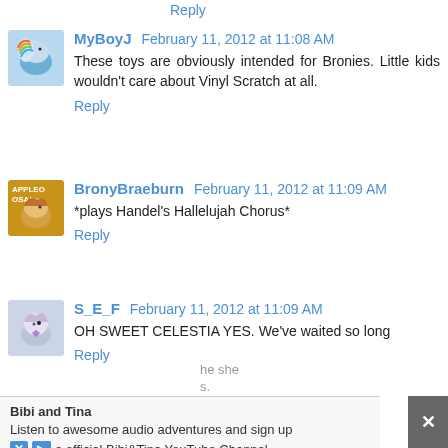Reply
MyBoyJ  February 11, 2012 at 11:08 AM
These toys are obviously intended for Bronies. Little kids wouldn't care about Vinyl Scratch at all.
Reply
BronyBraeburn  February 11, 2012 at 11:09 AM
*plays Handel's Hallelujah Chorus*
Reply
S_E_F  February 11, 2012 at 11:09 AM
OH SWEET CELESTIA YES. We've waited so long
Reply
Anonymous  February 11, 2012 at 11:09 AM